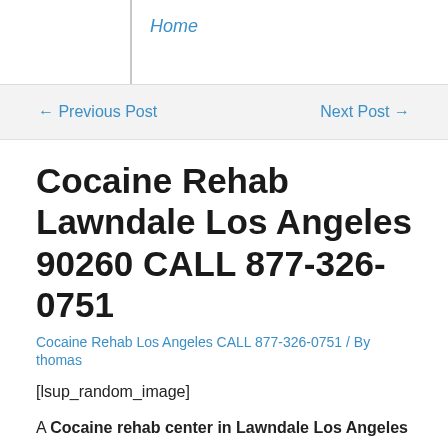Home
← Previous Post    Next Post →
Cocaine Rehab Lawndale Los Angeles 90260 CALL 877-326-0751
Cocaine Rehab Los Angeles CALL 877-326-0751 / By thomas
[lsup_random_image]
A Cocaine rehab center in Lawndale Los Angeles 90260 CALL 877-326-0751 is a significant piece of our locale. It is an image of our determination to defeat our torment and torment through